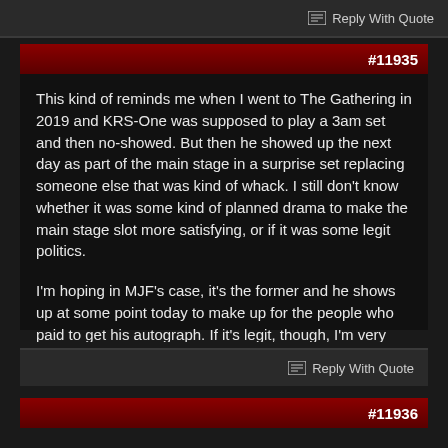Reply With Quote
#11935
This kind of reminds me when I went to The Gathering in 2019 and KRS-One was supposed to play a 3am set and then no-showed. But then he showed up the next day as part of the main stage in a surprise set replacing someone else that was kind of whack. I still don't know whether it was some kind of planned drama to make the main stage slot more satisfying, or if it was some legit politics.

I'm hoping in MJF's case, it's the former and he shows up at some point today to make up for the people who paid to get his autograph. If it's legit, though, I'm very curious what went down to make him want to walk out.
Reply With Quote
#11936